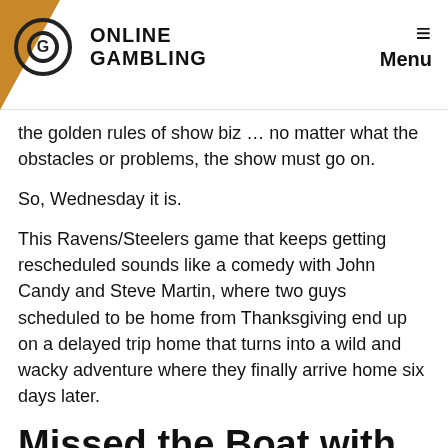ONLINE GAMBLING — Menu
the golden rules of show biz … no matter what the obstacles or problems, the show must go on.
So, Wednesday it is.
This Ravens/Steelers game that keeps getting rescheduled sounds like a comedy with John Candy and Steve Martin, where two guys scheduled to be home from Thanksgiving end up on a delayed trip home that turns into a wild and wacky adventure where they finally arrive home six days later.
Missed the Boat with Week 18
The NFL took a hardline approach and refused to alter their set date for the Super Bowl, scheduled for Feb. 7, 2021. The NFL is stubborn that way, unlike the MLB, NBA, and NHL. The